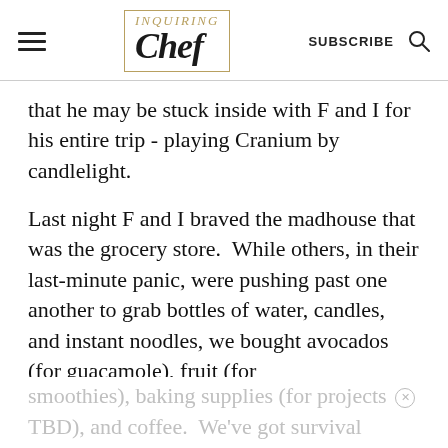Inquiring Chef | SUBSCRIBE
that he may be stuck inside with F and I for his entire trip - playing Cranium by candlelight.
Last night F and I braved the madhouse that was the grocery store.  While others, in their last-minute panic, were pushing past one another to grab bottles of water, candles, and instant noodles, we bought avocados (for guacamole), fruit (for smoothies), baking supplies (for projects TBD), and coffee. We've got survival
smoothies), baking supplies (for projects TBD), and coffee.  We've got survival